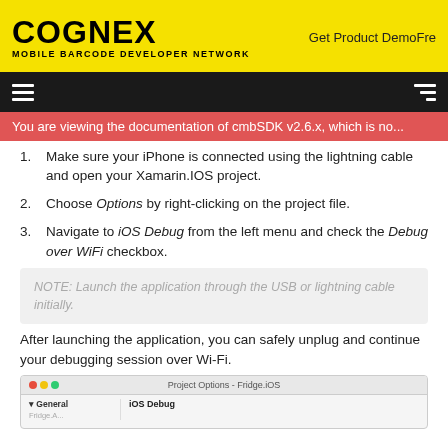COGNEX MOBILE BARCODE DEVELOPER NETWORK | Get Product DemoFre
You are viewing the documentation of cmbSDK v2.6.x, which is no...
Make sure your iPhone is connected using the lightning cable and open your Xamarin.IOS project.
Choose Options by right-clicking on the project file.
Navigate to iOS Debug from the left menu and check the Debug over WiFi checkbox.
NOTE: Launch the application through the USB or lightning cable initially.
After launching the application, you can safely unplug and continue your debugging session over Wi-Fi.
[Figure (screenshot): Project Options - Fridge.iOS window showing General section on left and iOS Debug on right]